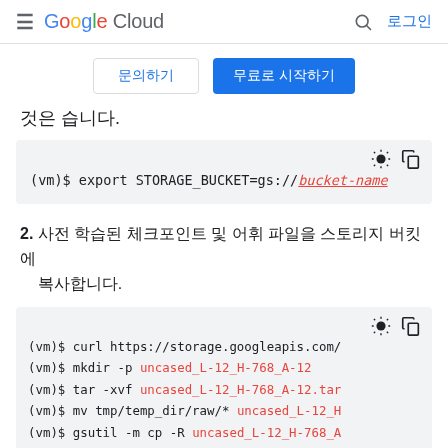≡  Google Cloud   🔍  로그인
문의하기   무료로 시작하기
것은 습니다.
[Figure (screenshot): Code block showing: (vm)$ export STORAGE_BUCKET=gs://bucket-name]
2. 사전 학습된 체크포인트 및 어휘 파일을 스토리지 버킷에 복사합니다.
[Figure (screenshot): Code block showing multiple vm commands: curl https://storage.googleapis.com/, mkdir -p uncased_L-12_H-768_A-12, tar -xvf uncased_L-12_H-768_A-12.tar, mv tmp/temp_dir/raw/* uncased_L-12_H-, gsutil -m cp -R uncased_L-12_H-768_A]